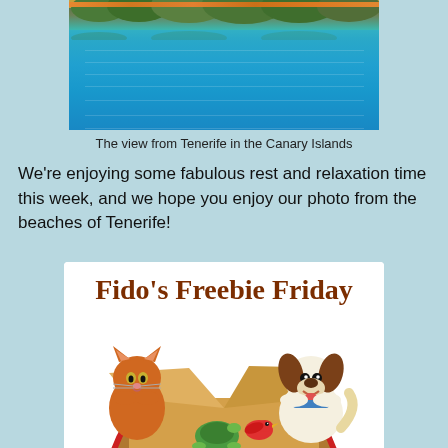[Figure (photo): Photo of turquoise water and palm trees viewed from Tenerife in the Canary Islands]
The view from Tenerife in the Canary Islands
We're enjoying some fabulous rest and relaxation time this week, and we hope you enjoy our photo from the beaches of Tenerife!
[Figure (illustration): Fido's Freebie Friday promotional illustration showing a cartoon cat, dog, turtle, and bird around an open cardboard box with red ribbons]